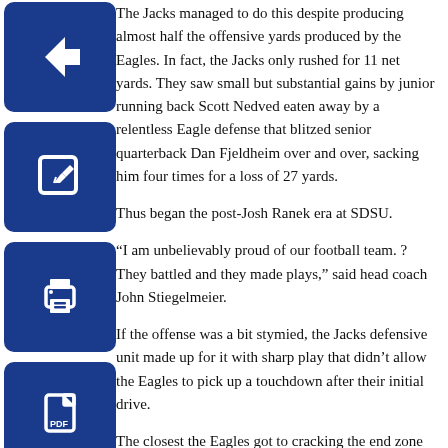The Jacks managed to do this despite producing almost half the offensive yards produced by the Eagles. In fact, the Jacks only rushed for 11 net yards. They saw small but substantial gains by junior running back Scott Nedved eaten away by a relentless Eagle defense that blitzed senior quarterback Dan Fjeldheim over and over, sacking him four times for a loss of 27 yards.
Thus began the post-Josh Ranek era at SDSU.
“I am unbelievably proud of our football team. ？ They battled and they made plays,” said head coach John Stiegelmeier.
If the offense was a bit stymied, the Jacks defensive unit made up for it with sharp play that didn’t allow the Eagles to pick up a touchdown after their initial drive.
The closest the Eagles got to cracking the end zone after that drive was the five-yard line, where the Jacks held them back during a four play stand in the final quarter.
All four of SDSU’s touchdowns were set up for them by the defense or the special teams players.
Indeed, senior cornerback Joe Ford scored six of SDSU’s points on a 34 yard interception return in the latter half of the second quarter that put the Jacks comfortably ahead for the rest of the game.